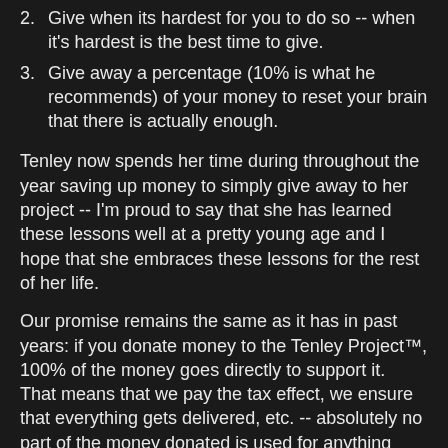2. Give when its hardest for you to do so -- when it's hardest is the best time to give.
3. Give away a percentage (10% is what he recommends) of your money to reset your brain that there is actually enough.
Tenley now spends her time during throughout the year saving up money to simply give away to her project -- I'm proud to say that she has learned these lessons well at a pretty young age and I hope that she embraces these lessons for the rest of her life.
Our promise remains the same as it has in past years: if you donate money to the Tenley Project™, 100% of the money goes directly to support it.  That means that we pay the tax effect, we ensure that everything gets delivered, etc. -- absolutely no part of the money donated is used for anything other than directly benefiting Children's Hospital.  As with the past couple of years, we again have a donor that will match donations up to $5,000.00, so every dollar donated actually provides the hospital with a cash donation of an additional